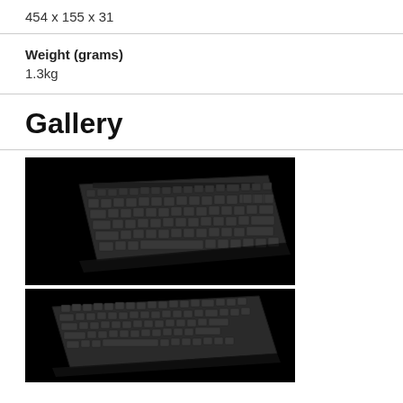454 x 155 x 31
Weight (grams)
1.3kg
Gallery
[Figure (photo): Photo of a full-size mechanical keyboard on a black background, angled view from above-left]
[Figure (photo): Photo of the same keyboard on a black background, slightly different angle]